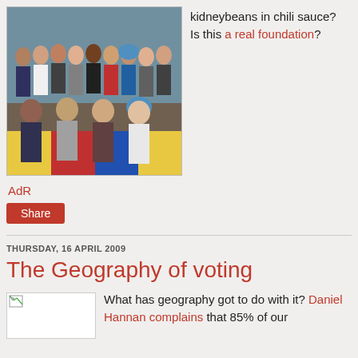[Figure (photo): Group photo of approximately 20 diverse young people posing together indoors on a colorful checkered floor.]
kidneybeans in chili sauce? Is this a real foundation?
AdR
Share
THURSDAY, 16 APRIL 2009
The Geography of voting
[Figure (photo): Broken image placeholder thumbnail]
What has geography got to do with it? Daniel Hannan complains that 85% of our